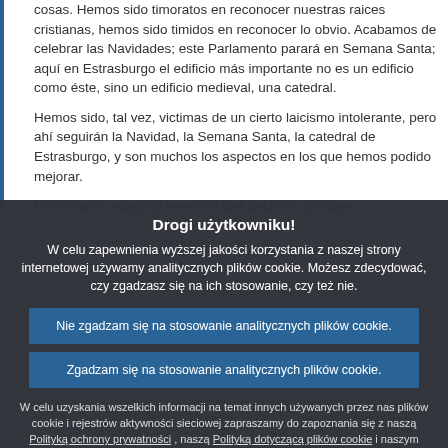cosas. Hemos sido timoratos en reconocer nuestras raices cristianas, hemos sido timidos en reconocer lo obvio. Acabamos de celebrar las Navidades; este Parlamento parará en Semana Santa; aquí en Estrasburgo el edificio más importante no es un edificio como éste, sino un edificio medieval, una catedral.
Hemos sido, tal vez, victimas de un cierto laicismo intolerante, pero ahí seguirán la Navidad, la Semana Santa, la catedral de Estrasburgo, y son muchos los aspectos en los que hemos podido mejorar.
Por lo tanto, nosotros tenemos que decir "sí", porque
Drogi użytkowniku!
W celu zapewnienia wyższej jakości korzystania z naszej strony internetowej używamy analitycznych plików cookie. Możesz zdecydować, czy zgadzasz się na ich stosowanie, czy też nie.
Nie zgadzam się na stosowanie analitycznych plików cookie.
Zgadzam się na stosowanie analitycznych plików cookie.
W celu uzyskania wszelkich informacji na temat innych używanych przez nas plików cookie i rejestrów aktywności sieciowej zapraszamy do zapoznania się z naszą Polityką ochrony prywatności , naszą Polityką dotyczącą plików cookie i naszym Wykazem plików cookie.